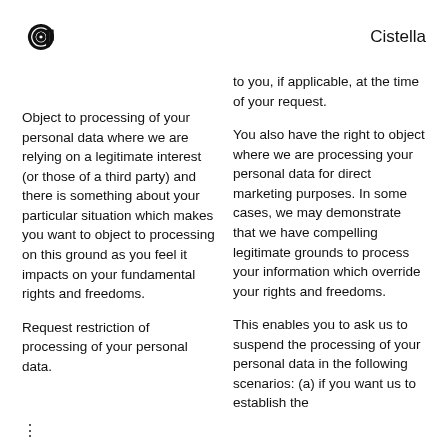Cistella
to you, if applicable, at the time of your request.
Object to processing of your personal data where we are relying on a legitimate interest (or those of a third party) and there is something about your particular situation which makes you want to object to processing on this ground as you feel it impacts on your fundamental rights and freedoms.
You also have the right to object where we are processing your personal data for direct marketing purposes. In some cases, we may demonstrate that we have compelling legitimate grounds to process your information which override your rights and freedoms.
Request restriction of processing of your personal data.
This enables you to ask us to suspend the processing of your personal data in the following scenarios: (a) if you want us to establish the
⋮